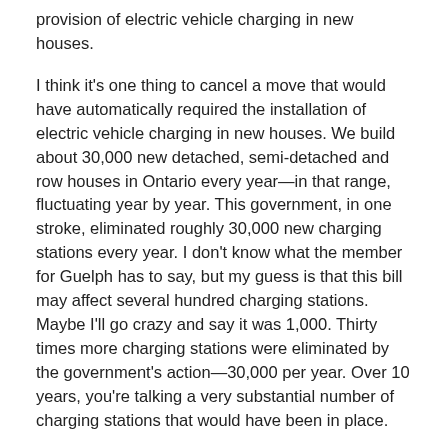provision of electric vehicle charging in new houses.
I think it's one thing to cancel a move that would have automatically required the installation of electric vehicle charging in new houses. We build about 30,000 new detached, semi-detached and row houses in Ontario every year—in that range, fluctuating year by year. This government, in one stroke, eliminated roughly 30,000 new charging stations every year. I don't know what the member for Guelph has to say, but my guess is that this bill may affect several hundred charging stations. Maybe I'll go crazy and say it was 1,000. Thirty times more charging stations were eliminated by the government's action—30,000 per year. Over 10 years, you're talking a very substantial number of charging stations that would have been in place.
The previous government did have a $1,000 rebate for retrofitting those electric charging stations on existing homes. It's pretty pricey to go back and do it afterwards